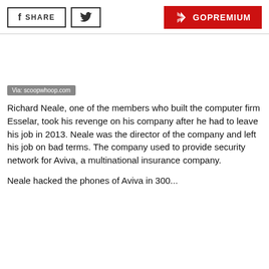[Figure (logo): Social share buttons: Facebook SHARE button, Twitter bird button, and red GoPremium button with logo]
[Figure (photo): Blank/white image area with 'Via: scoopwhoop.com' caption label in grey bar at bottom-left]
Via: scoopwhoop.com
Richard Neale, one of the members who built the computer firm Esselar, took his revenge on his company after he had to leave his job in 2013. Neale was the director of the company and left his job on bad terms. The company used to provide security network for Aviva, a multinational insurance company.
Neale hacked the phones of Aviva in 300...